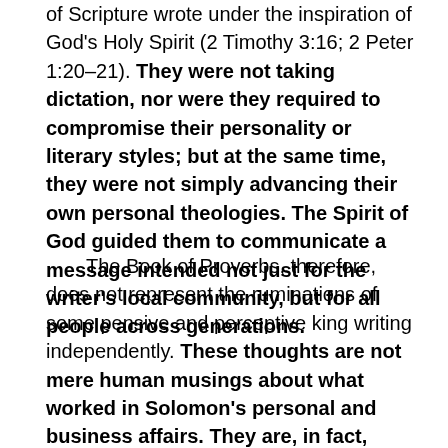of Scripture wrote under the inspiration of God's Holy Spirit (2 Timothy 3:16; 2 Peter 1:20–21). They were not taking dictation, nor were they required to compromise their personality or literary styles; but at the same time, they were not simply advancing their own personal theologies. The Spirit of God guided them to communicate a message intended not just for the writer's local community, but for all people across generations.
The Book of Proverbs, therefore, does not represent the ruminations of some pensive and perceptive king writing independently. These thoughts are not mere human musings about what worked in Solomon's personal and business affairs. They are, in fact, nothing less than God's counsel to His people, filtered through a messenger of His choosing.